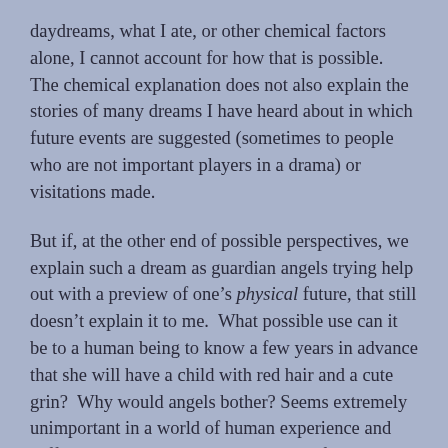daydreams, what I ate, or other chemical factors alone, I cannot account for how that is possible.  The chemical explanation does not also explain the stories of many dreams I have heard about in which future events are suggested (sometimes to people who are not important players in a drama) or visitations made.
But if, at the other end of possible perspectives, we explain such a dream as guardian angels trying help out with a preview of one's physical future, that still doesn't explain it to me.  What possible use can it be to a human being to know a few years in advance that she will have a child with red hair and a cute grin?  Why would angels bother? Seems extremely unimportant in a world of human experience and suffering.  For me, any “explanation” of a dream like this must go deeper than a prediction of physical events or baby name suggestions.